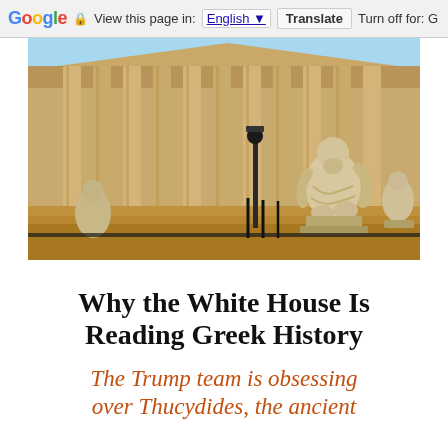Google  View this page in: English  Translate  Turn off for: G
[Figure (photo): Photograph of a neoclassical building with tall columns and marble statues of seated philosophers in the foreground, under a blue sky]
Why the White House Is Reading Greek History
The Trump team is obsessing over Thucydides, the ancient